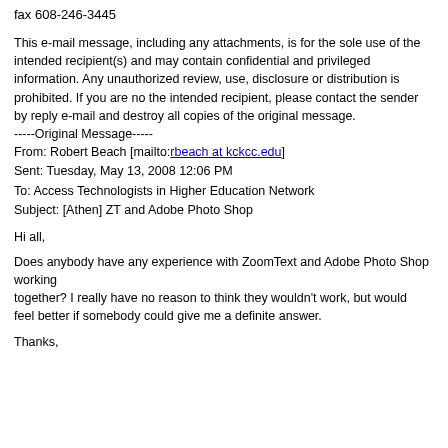fax 608-246-3445
This e-mail message, including any attachments, is for the sole use of the intended recipient(s) and may contain confidential and privileged information. Any unauthorized review, use, disclosure or distribution is prohibited. If you are no the intended recipient, please contact the sender by reply e-mail and destroy all copies of the original message. -----Original Message----- From: Robert Beach [mailto:rbeach at kckcc.edu] Sent: Tuesday, May 13, 2008 12:06 PM To: Access Technologists in Higher Education Network Subject: [Athen] ZT and Adobe Photo Shop
Hi all,
Does anybody have any experience with ZoomText and Adobe Photo Shop working together? I really have no reason to think they wouldn't work, but would feel better if somebody could give me a definite answer.
Thanks,